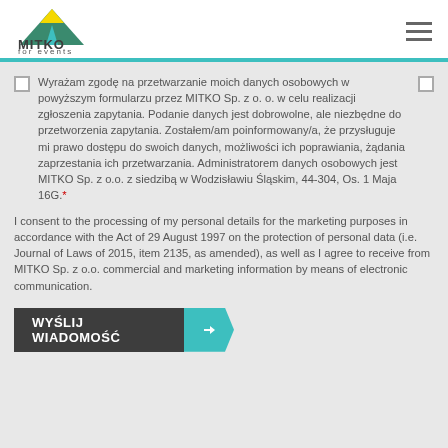[Figure (logo): MITKO for events logo with green and yellow tent/triangle graphic]
Wyrażam zgodę na przetwarzanie moich danych osobowych w powyższym formularzu przez MITKO Sp. z o. o. w celu realizacji zgłoszenia zapytania. Podanie danych jest dobrowolne, ale niezbędne do przetworzenia zapytania. Zostałem/am poinformowany/a, że przysługuje mi prawo dostępu do swoich danych, możliwości ich poprawiania, żądania zaprzestania ich przetwarzania. Administratorem danych osobowych jest MITKO Sp. z o.o. z siedzibą w Wodzisławiu Śląskim, 44-304, Os. 1 Maja 16G.*
I consent to the processing of my personal details for the marketing purposes in accordance with the Act of 29 August 1997 on the protection of personal data (i.e. Journal of Laws of 2015, item 2135, as amended), as well as I agree to receive from MITKO Sp. z o.o. commercial and marketing information by means of electronic communication.
WYŚLIJ WIADOMOŚĆ